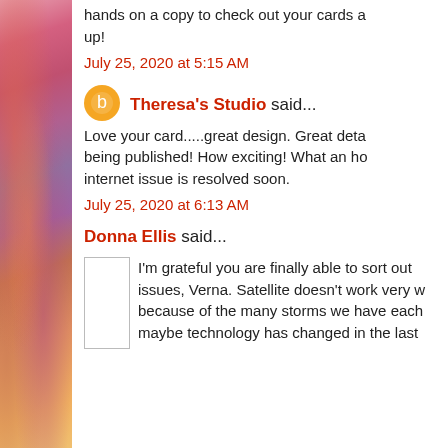hands on a copy to check out your cards and look them up!
July 25, 2020 at 5:15 AM
Theresa's Studio said...
Love your card.....great design. Great detail on being published! How exciting! What an honor. Hope your internet issue is resolved soon.
July 25, 2020 at 6:13 AM
Donna Ellis said...
I'm grateful you are finally able to sort out your internet issues, Verna. Satellite doesn't work very well here because of the many storms we have each year but maybe technology has changed in the last...